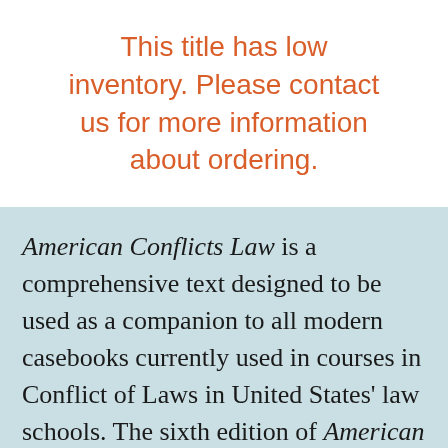This title has low inventory. Please contact us for more information about ordering.
American Conflicts Law is a comprehensive text designed to be used as a companion to all modern casebooks currently used in courses in Conflict of Laws in United States' law schools. The sixth edition of American Conflicts Law continues the tradition of the first five editions in covering all important topics included in